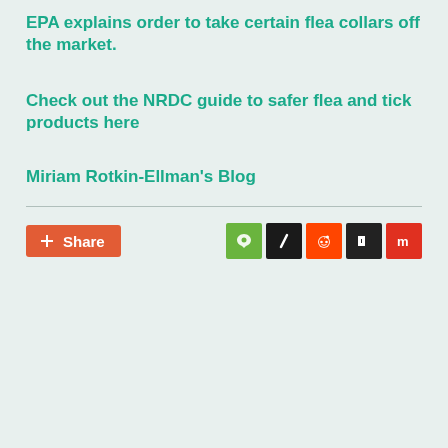EPA explains order to take certain flea collars off the market.
Check out the NRDC guide to safer flea and tick products here
Miriam Rotkin-Ellman's Blog
[Figure (other): Share button (orange/red) with plus icon and social media sharing icons: a green butterfly/nature icon, a black slash/metrics icon, an orange-red Reddit icon, a dark Digg icon, and a red Mix icon.]